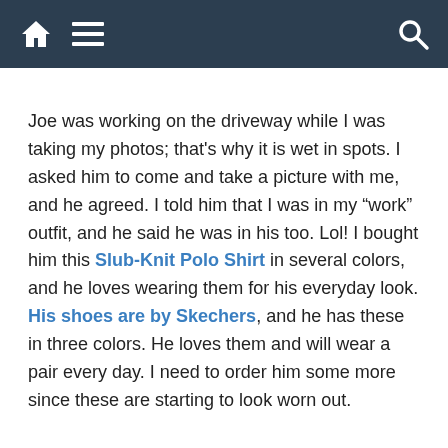[navigation bar with home, menu, and search icons]
Joe was working on the driveway while I was taking my photos; that's why it is wet in spots. I asked him to come and take a picture with me, and he agreed. I told him that I was in my “work” outfit, and he said he was in his too. Lol! I bought him this Slub-Knit Polo Shirt in several colors, and he loves wearing them for his everyday look. His shoes are by Skechers, and he has these in three colors. He loves them and will wear a pair every day. I need to order him some more since these are starting to look worn out.